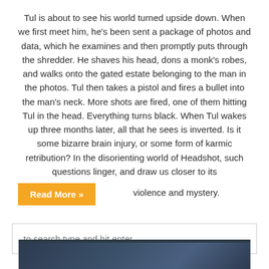Tul is about to see his world turned upside down. When we first meet him, he's been sent a package of photos and data, which he examines and then promptly puts through the shredder. He shaves his head, dons a monk's robes, and walks onto the gated estate belonging to the man in the photos. Tul then takes a pistol and fires a bullet into the man's neck. More shots are fired, one of them hitting Tul in the head. Everything turns black. When Tul wakes up three months later, all that he sees is inverted. Is it some bizarre brain injury, or some form of karmic retribution? In the disorienting world of Headshot, such questions linger, and draw us closer to its violence and mystery.
Read More »
to search type and hit enter
[Figure (other): Dark blue/navy image strip at the bottom of the page, partially visible]